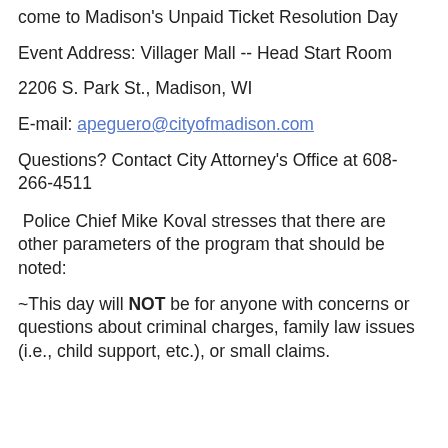come to Madison's Unpaid Ticket Resolution Day
Event Address: Villager Mall -- Head Start Room
2206 S. Park St., Madison, WI
E-mail: apeguero@cityofmadison.com
Questions? Contact City Attorney's Office at 608-266-4511
Police Chief Mike Koval stresses that there are other parameters of the program that should be noted:
~This day will NOT be for anyone with concerns or questions about criminal charges, family law issues (i.e., child support, etc.), or small claims.